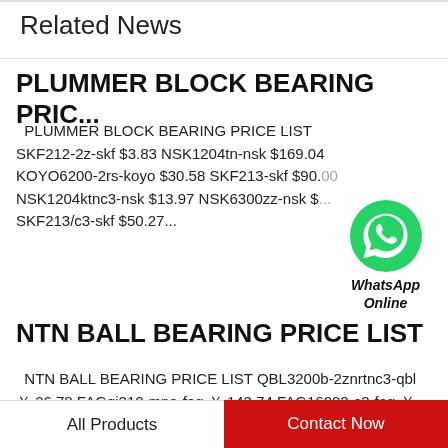Related News
PLUMMER BLOCK BEARING PRIC...
PLUMMER BLOCK BEARING PRICE LIST SKF212-2z-skf $3.83 NSK1204tn-nsk $169.04 KOYO6200-2rs-koyo $30.58 SKF213-skf $90.00 NSK1204ktnc3-nsk $13.97 NSK6300zz-nsk $... SKF213/c3-skf $50.27...
[Figure (logo): WhatsApp Online button with green WhatsApp icon and text 'WhatsApp Online']
NTN BALL BEARING PRICE LIST
NTN BALL BEARING PRICE LIST QBL3200b-2znrtnc3-qbl ￥26.78 FAGqj210-mpa-fag ￥142.74 FAG16002-c3-fag ￥156.44 NSK3200b-2znrtnc3-nsk ￥163.23 SKFqi210ma/c3-skf ￥89.67 FAG16002-2z-
All Products    Contact Now